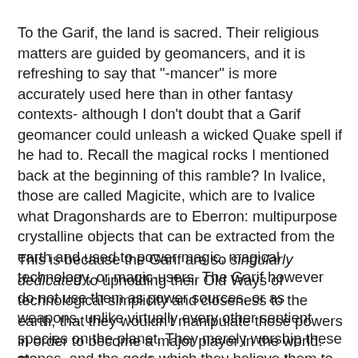To the Garif, the land is sacred. Their religious matters are guided by geomancers, and it is refreshing to say that "-mancer" is more accurately used here than in other fantasy contexts- although I don't doubt that a Garif geomancer could unleash a wicked Quake spell if he had to. Recall the magical rocks I mentioned back at the beginning of this ramble? In Ivalice, those are called Magicite, which are to Ivalice what Dragonshards are to Eberron: multipurpose crystalline objects that can be extracted from the earth and used to power magic, magical technology, or magic-users. The Garif however do not use them as power sources, or as weapons, unlike virtually every other sentient species on the planet. They merely worship these stones, and the gods which they believe them to be representative of.
This is because the Garif are so singularly dedicated to upholding their Old Ways of technological simplicity and closeness to the earth, that they wouldn't manipulate those powers in order to become a major player in the world. They never appear, but there are said to be many tribes of Garif, and all of them united could be a powerful force indeed. But